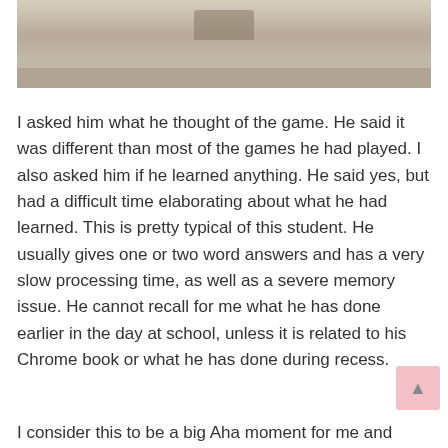[Figure (illustration): Partial view of an illustrated or decorated image, brownish/tan tones, appears to be a game board or decorative scene]
I asked him what he thought of the game.  He said it was different than most of the games he had played.  I also asked him if he learned anything.  He said yes, but had a difficult time elaborating about what he had learned.  This is pretty typical of this student.  He usually gives one or two word answers and has a very slow processing time, as well as a severe memory issue.  He cannot recall for me what he has done earlier in the day at school, unless it is related to his Chrome book or what he has done during recess.
I consider this to be a big Aha moment for me and